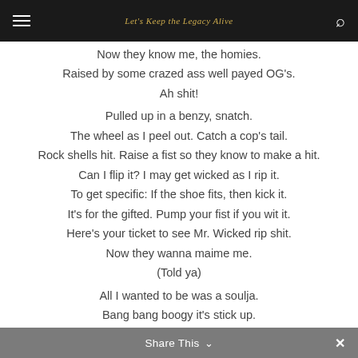Let's Keep the Legacy Alive
Now they know me, the homies.
Raised by some crazed ass well payed OG's.
Ah shit!
Pulled up in a benzy, snatch.
The wheel as I peel out. Catch a cop's tail.
Rock shells hit. Raise a fist so they know to make a hit.
Can I flip it? I may get wicked as I rip it.
To get specific: If the shoe fits, then kick it.
It's for the gifted. Pump your fist if you wit it.
Here's your ticket to see Mr. Wicked rip shit.
Now they wanna maime me.
(Told ya)
All I wanted to be was a soulja.
Bang bang boogy it's stick up.